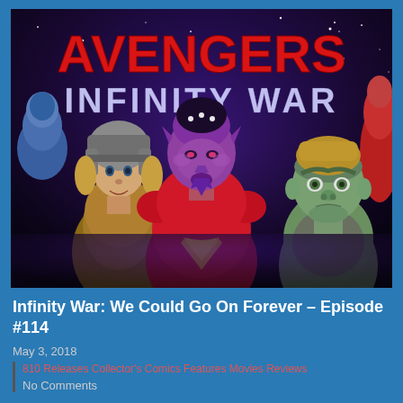[Figure (photo): Composite image showing three costumed characters from old TV shows/movies posed in front of an Avengers Infinity War title card. Left figure wears Viking/Thor-like helmet and fur. Center figure has purple/pink skin with pointed features, wearing red costume. Right figure has green skin resembling the Hulk. Text reads 'AVENGERS INFINITY WAR' in the background.]
Infinity War: We Could Go On Forever – Episode #114
May 3, 2018
810 Releases Collector's Comics Features Movies Reviews
No Comments